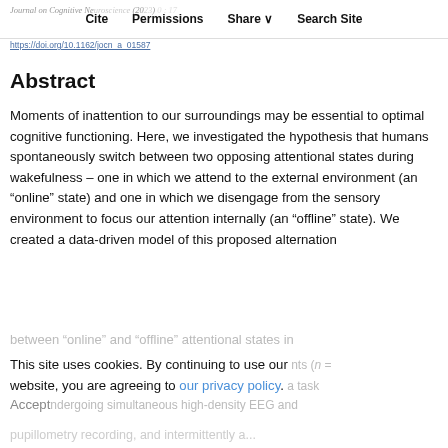Journal on Cognitive Neuroscience (2023) 0: 17... | Cite | Permissions | Share | Search Site
https://doi.org/10.1162/jocn_a_01587
Abstract
Moments of inattention to our surroundings may be essential to optimal cognitive functioning. Here, we investigated the hypothesis that humans spontaneously switch between two opposing attentional states during wakefulness – one in which we attend to the external environment (an "online" state) and one in which we disengage from the sensory environment to focus our attention internally (an "offline" state). We created a data-driven model of this proposed alternation
between "online" and "offline" attentional states in
This site uses cookies. By continuing to use our website, you are agreeing to our privacy policy. Accept
nts (n = ... a task ... ndergoing simultaneous high-density EEG and
pupillometry recording, and intermittently a...